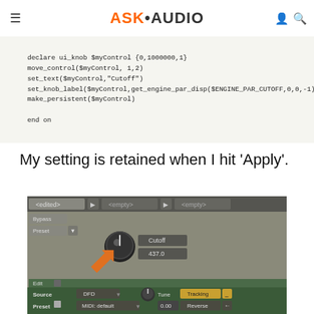ASK•AUDIO
[Figure (screenshot): Code editor screenshot showing KSP script: declare ui_knob $myControl {0,1000000,1}, move_control($myControl, 1,2), set_text($myControl,"Cutoff"), set_knob_label($myControl,get_engine_par_disp($ENGINE_PAR_CUTOFF,0,0,-1)), make_persistent($myControl), end on]
My setting is retained when I hit 'Apply'.
[Figure (screenshot): Kontakt instrument editor screenshot showing a custom Cutoff knob with value 437.0, an orange arrow pointing to the knob, and the instrument editor interface with Source set to DFD, Preset MIDI: default, Tune 0.00, Tracking and Reverse buttons visible.]